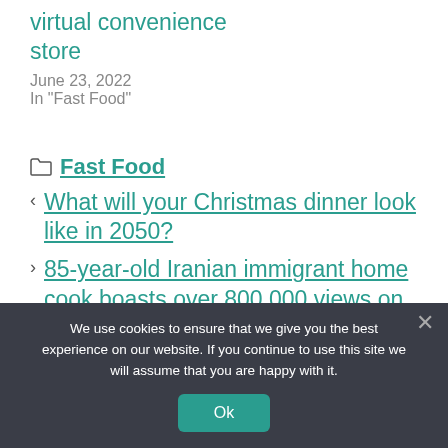virtual convenience store
June 23, 2022
In "Fast Food"
Fast Food
< What will your Christmas dinner look like in 2050?
> 85-year-old Iranian immigrant home cook boasts over 800,000 views on social media
We use cookies to ensure that we give you the best experience on our website. If you continue to use this site we will assume that you are happy with it.